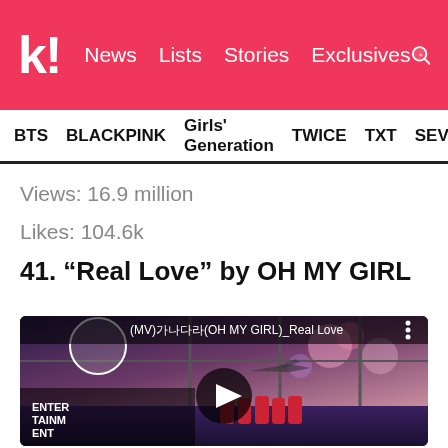k! News Lists Stories Exclusives
BTS BLACKPINK Girls' Generation TWICE TXT SEVE
Views: 16.9 million
Likes: 104.6k
41. “Real Love” by OH MY GIRL
[Figure (screenshot): YouTube video thumbnail for OH MY GIRL (MV) Real Love showing group members in red dresses with fireworks and an airplane, YouTube player interface with play button]